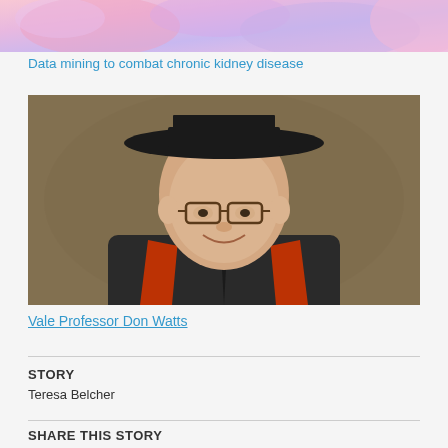[Figure (photo): Top strip showing blurred/abstract pink and lavender kidney-related imagery]
Data mining to combat chronic kidney disease
[Figure (photo): Portrait photograph of an elderly man wearing academic regalia: black doctoral gown, black flat-topped mortarboard hat, and red/orange academic hood or stole. He is smiling and wearing glasses, photographed against a brown background.]
Vale Professor Don Watts
STORY
Teresa Belcher
SHARE THIS STORY